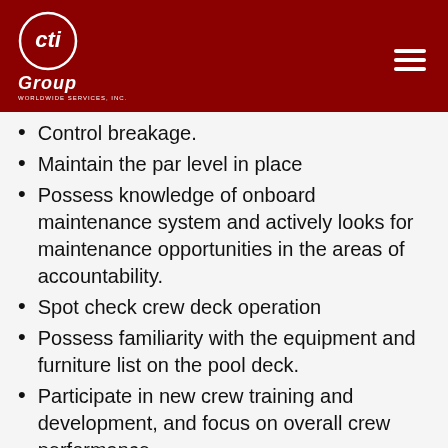CTI Group Worldwide Services, Inc.
Control breakage.
Maintain the par level in place
Possess knowledge of onboard maintenance system and actively looks for maintenance opportunities in the areas of accountability.
Spot check crew deck operation
Possess familiarity with the equipment and furniture list on the pool deck.
Participate in new crew training and development, and focus on overall crew performance.